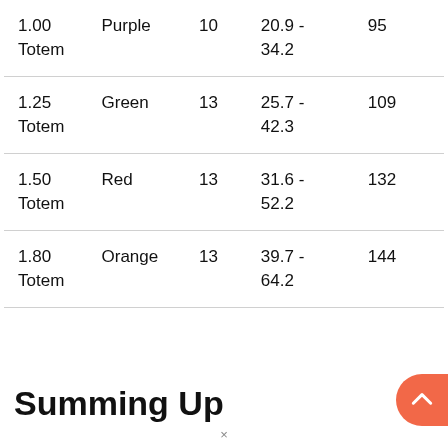| 1.00 | Purple | 10 | 20.9 - | 95 |
| Totem |  |  | 34.2 |  |
| 1.25 | Green | 13 | 25.7 - | 109 |
| Totem |  |  | 42.3 |  |
| 1.50 | Red | 13 | 31.6 - | 132 |
| Totem |  |  | 52.2 |  |
| 1.80 | Orange | 13 | 39.7 - | 144 |
| Totem |  |  | 64.2 |  |
Summing Up